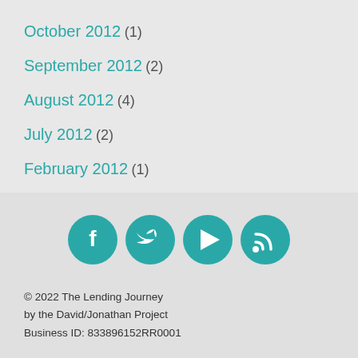October 2012 (1)
September 2012 (2)
August 2012 (4)
July 2012 (2)
February 2012 (1)
December 2011 (1)
[Figure (infographic): Four teal circular social media icons: Facebook, Twitter, Play/Video, RSS feed]
© 2022 The Lending Journey by the David/Jonathan Project Business ID: 833896152RR0001